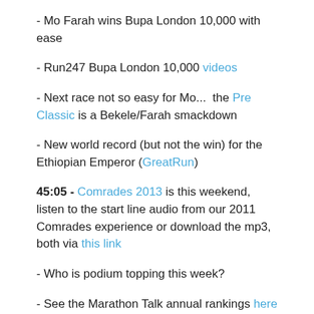- Mo Farah wins Bupa London 10,000 with ease
- Run247 Bupa London 10,000 videos
- Next race not so easy for Mo...  the Pre Classic is a Bekele/Farah smackdown
- New world record (but not the win) for the Ethiopian Emperor (GreatRun)
45:05 - Comrades 2013 is this weekend, listen to the start line audio from our 2011 Comrades experience or download the mp3, both via this link
- Who is podium topping this week?
- See the Marathon Talk annual rankings here
51:25 - Tony's Trials